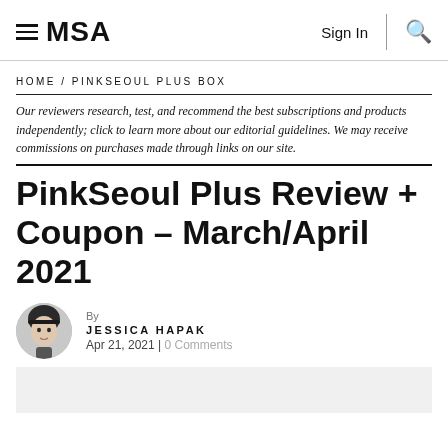MSA | Sign In | Search
HOME / PINKSEOUL PLUS BOX
Our reviewers research, test, and recommend the best subscriptions and products independently; click to learn more about our editorial guidelines. We may receive commissions on purchases made through links on our site.
PinkSeoul Plus Review + Coupon – March/April 2021
By JESSICA HAPAK
Apr 21, 2021 | 0 Comments